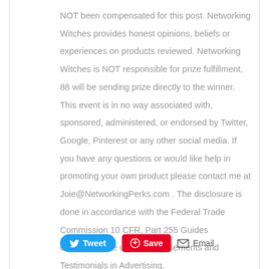NOT been compensated for this post. Networking Witches provides honest opinions, beliefs or experiences on products reviewed. Networking Witches is NOT responsible for prize fulfillment, 88 will be sending prize directly to the winner. This event is in no way associated with, sponsored, administered, or endorsed by Twitter, Google, Pinterest or any other social media. If you have any questions or would like help in promoting your own product please contact me at Joie@NetworkingPerks.com . The disclosure is done in accordance with the Federal Trade Commission 10 CFR, Part 255 Guides concerning the use of Endorsements and Testimonials in Advertising.
Tweet  Save  Email